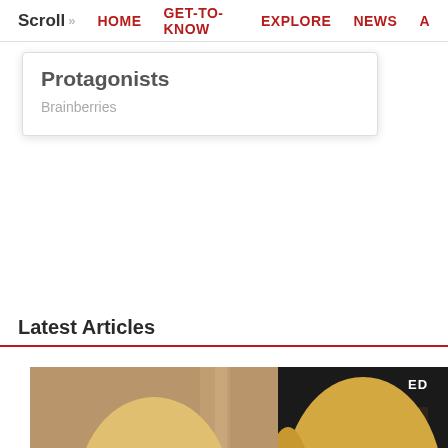Scroll >> HOME  GET-TO-KNOW  EXPLORE  NEWS  A
Protagonists
Brainberries
Latest Articles
[Figure (photo): Two side-by-side photos of a blonde woman — left photo shows her smiling, right photo shows a close-up of her face with 'ED' watermark in top-right corner]